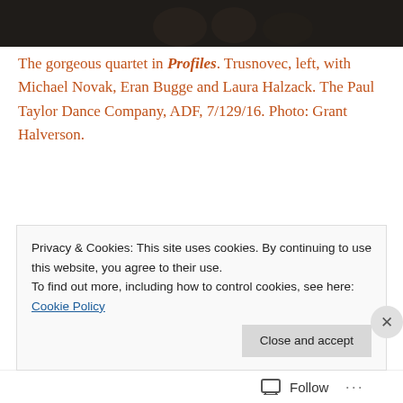[Figure (photo): Dark toned image at top of page, likely a dance performance photograph.]
The gorgeous quartet in Profiles. Trusnovec, left, with Michael Novak, Eran Bugge and Laura Halzack. The Paul Taylor Dance Company, ADF, 7/129/16. Photo: Grant Halverson.
[Figure (screenshot): Advertisement for Day One journaling app on a blue background. Shows a figure holding a phone, text reads DAY ONE and The only journaling app you'll ever need.]
Privacy & Cookies: This site uses cookies. By continuing to use this website, you agree to their use. To find out more, including how to control cookies, see here: Cookie Policy
Follow